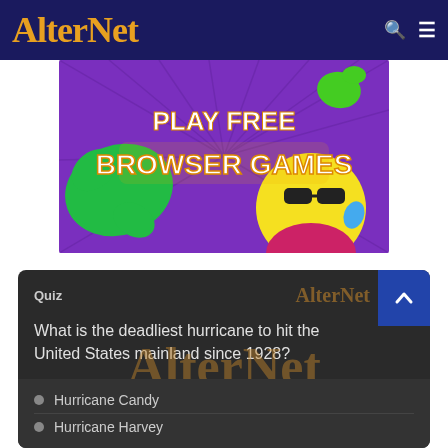AlterNet
[Figure (illustration): Colorful ad banner with purple background showing a yellow emoji character with sunglasses and green splat shapes, text reads PLAY FREE BROWSER GAMES]
Quiz
What is the deadliest hurricane to hit the United States mainland since 1928?
Hurricane Candy
Hurricane Harvey